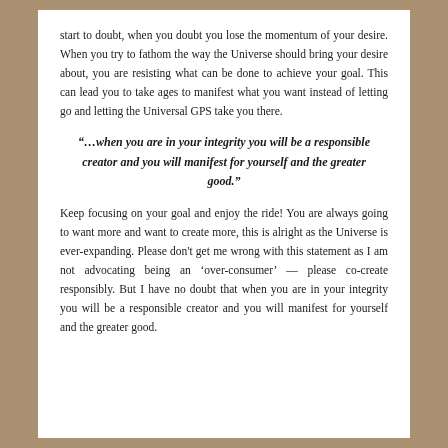start to doubt, when you doubt you lose the momentum of your desire. When you try to fathom the way the Universe should bring your desire about, you are resisting what can be done to achieve your goal. This can lead you to take ages to manifest what you want instead of letting go and letting the Universal GPS take you there.
“…when you are in your integrity you will be a responsible creator and you will manifest for yourself and the greater good.”
Keep focusing on your goal and enjoy the ride! You are always going to want more and want to create more, this is alright as the Universe is ever-expanding. Please don’t get me wrong with this statement as I am not advocating being an ‘over-consumer’ — please co-create responsibly. But I have no doubt that when you are in your integrity you will be a responsible creator and you will manifest for yourself and the greater good.